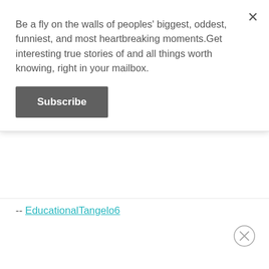Be a fly on the walls of peoples' biggest, oddest, funniest, and most heartbreaking moments.Get interesting true stories of and all things worth knowing, right in your mailbox.
Subscribe
-- EducationalTangelo6